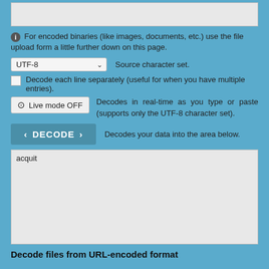[Figure (screenshot): Top textarea input box (empty, light gray background)]
For encoded binaries (like images, documents, etc.) use the file upload form a little further down on this page.
UTF-8  Source character set.
Decode each line separately (useful for when you have multiple entries).
Live mode OFF  Decodes in real-time as you type or paste (supports only the UTF-8 character set).
DECODE  Decodes your data into the area below.
[Figure (screenshot): Result textarea containing the text 'acquit']
Decode files from URL-encoded format